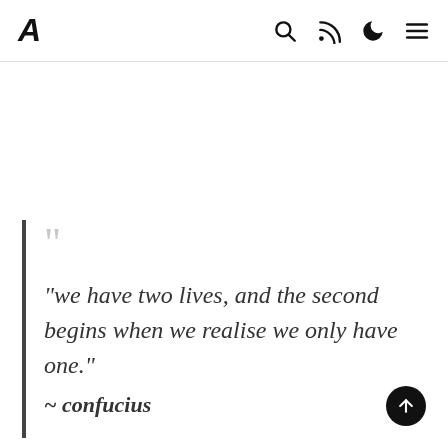A  [search] [rss] [moon] [menu]
“we have two lives, and the second begins when we realise we only have one.”
~ confucius